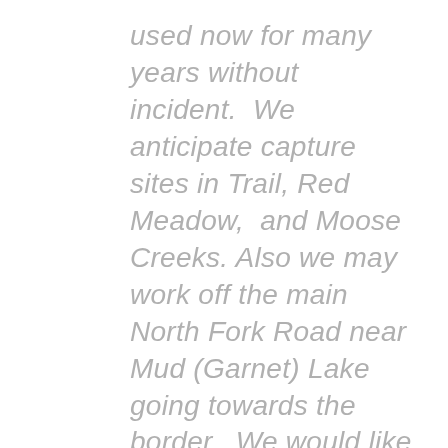used now for many years without incident.  We anticipate capture sites in Trail, Red Meadow,  and Moose Creeks. Also we may work off the main North Fork Road near Mud (Garnet) Lake going towards the border.  We would like to run the capture program for a maximum of about 10 days depending on success, starting later this week.